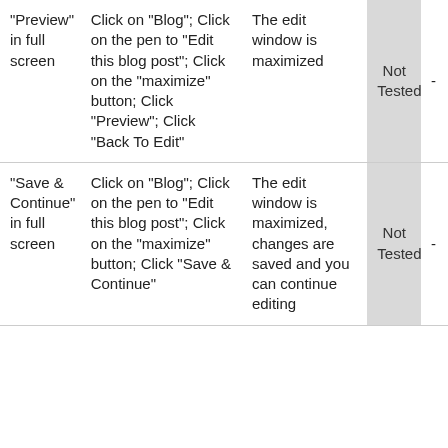| "Preview" in full screen | Click on "Blog"; Click on the pen to "Edit this blog post"; Click on the "maximize" button; Click "Preview"; Click "Back To Edit" | The edit window is maximized | Not Tested | - |
| "Save & Continue" in full screen | Click on "Blog"; Click on the pen to "Edit this blog post"; Click on the "maximize" button; Click "Save & Continue" | The edit window is maximized, changes are saved and you can continue editing | Not Tested | - |